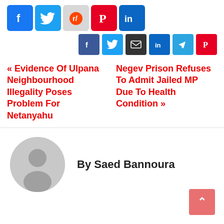[Figure (infographic): Row of large social media share buttons: Facebook (blue), Twitter (light blue), Reddit (gray), Pinterest (red), LinkedIn (blue)]
[Figure (infographic): Row of smaller share buttons: Facebook, Twitter, Email, LinkedIn, Telegram, Pinterest]
« Evidence Of Ulpana Neighbourhood Illegality Poses Problem For Netanyahu
Negev Prison Refuses To Admit Jailed MP Due To Health Condition »
By Saed Bannoura
[Figure (illustration): Generic user avatar — gray circle with a silhouette figure]